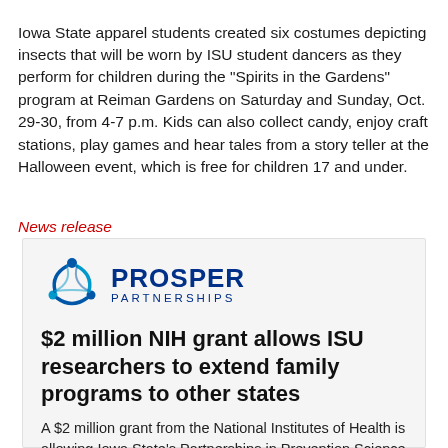Iowa State apparel students created six costumes depicting insects that will be worn by ISU student dancers as they perform for children during the "Spirits in the Gardens" program at Reiman Gardens on Saturday and Sunday, Oct. 29-30, from 4-7 p.m. Kids can also collect candy, enjoy craft stations, play games and hear tales from a story teller at the Halloween event, which is free for children 17 and under.
News release
[Figure (logo): Prosper Partnerships logo with blue triangular figure and bold blue text]
$2 million NIH grant allows ISU researchers to extend family programs to other states
A $2 million grant from the National Institutes of Health is allowing Iowa State's Partnerships in Prevention Science Institute to export its successful PROmoting School-